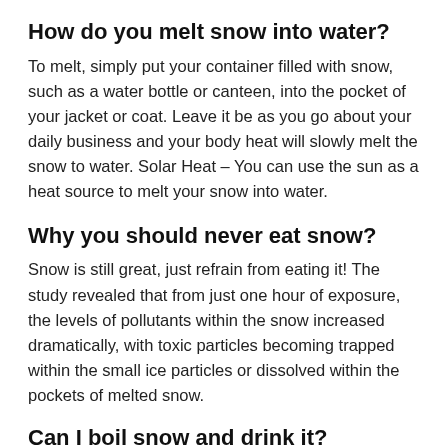How do you melt snow into water?
To melt, simply put your container filled with snow, such as a water bottle or canteen, into the pocket of your jacket or coat. Leave it be as you go about your daily business and your body heat will slowly melt the snow to water. Solar Heat – You can use the sun as a heat source to melt your snow into water.
Why you should never eat snow?
Snow is still great, just refrain from eating it! The study revealed that from just one hour of exposure, the levels of pollutants within the snow increased dramatically, with toxic particles becoming trapped within the small ice particles or dissolved within the pockets of melted snow.
Can I boil snow and drink it?
Boiling it...